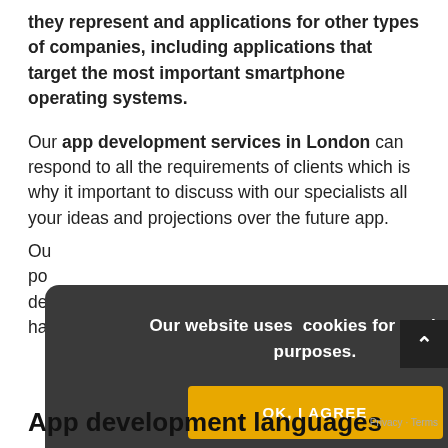they represent and applications for other types of companies, including applications that target the most important smartphone operating systems.
Our app development services in London can respond to all the requirements of clients which is why it important to discuss with our specialists all your ideas and projections over the future app.
Ou... po... de... ha...
[Figure (other): Cookie consent overlay with dark rounded rectangle background, text reading 'Our website uses cookies for statistical purposes.' and a yellow 'OK, I AGREE' button.]
App development languages